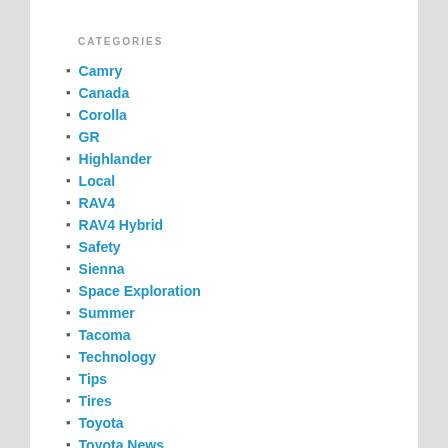CATEGORIES
Camry
Canada
Corolla
GR
Highlander
Local
RAV4
RAV4 Hybrid
Safety
Sienna
Space Exploration
Summer
Tacoma
Technology
Tips
Tires
Toyota
Toyota News
Toyota Racing